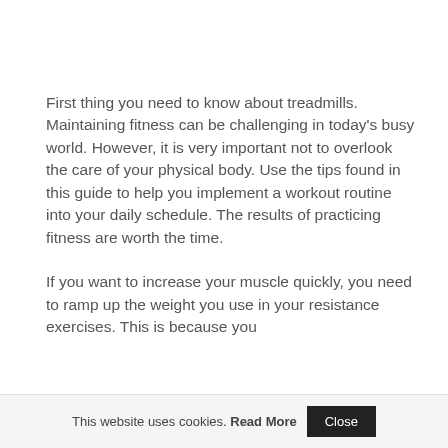First thing you need to know about treadmills. Maintaining fitness can be challenging in today's busy world. However, it is very important not to overlook the care of your physical body. Use the tips found in this guide to help you implement a workout routine into your daily schedule. The results of practicing fitness are worth the time.
If you want to increase your muscle quickly, you need to ramp up the weight you use in your resistance exercises. This is because you
This website uses cookies. Read More  Close